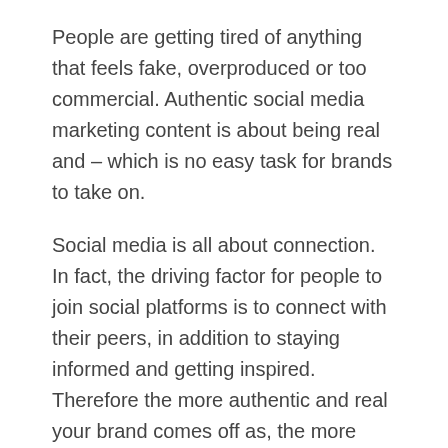People are getting tired of anything that feels fake, overproduced or too commercial. Authentic social media marketing content is about being real and – which is no easy task for brands to take on.
Social media is all about connection. In fact, the driving factor for people to join social platforms is to connect with their peers, in addition to staying informed and getting inspired. Therefore the more authentic and real your brand comes off as, the more likely your audience will be willing to connect with you.
64% of consumers want brands to connect with them and see social media as the number one channel for brands to use in building these relationships (Source: SproutSocial). In fact, the majority of consumers say their loyalty to a brand increases when they feel